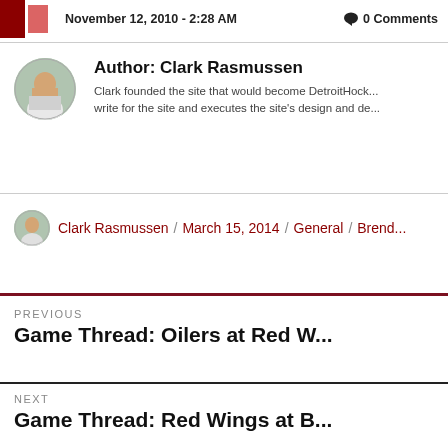November 12, 2010 - 2:28 AM   0 Comments
Author: Clark Rasmussen
Clark founded the site that would become DetroitHock... write for the site and executes the site's design and de...
Clark Rasmussen / March 15, 2014 / General / Brend...
PREVIOUS
Game Thread: Oilers at Red W...
NEXT
Game Thread: Red Wings at B...